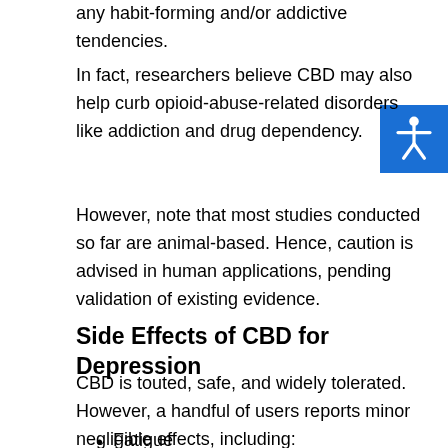any habit-forming and/or addictive tendencies.
In fact, researchers believe CBD may also help curb opioid-abuse-related disorders like addiction and drug dependency.
However, note that most studies conducted so far are animal-based. Hence, caution is advised in human applications, pending validation of existing evidence.
Side Effects of CBD for Depression
CBD is touted, safe, and widely tolerated. However, a handful of users reports minor negligible effects, including:
Fatigue
Change in weight/appetite
Diarrhea